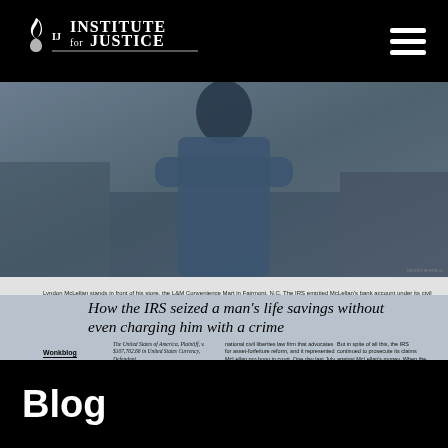Institute for Justice — navigation header with hamburger menu
[Figure (photo): Person standing with arms crossed in front of a store, shown from chest down, wearing a blue shirt. Dark bluish-gray toned photograph.]
Lyndon McLellan stands in front of his store, the L&M Convenience Mart in Fairmont, N.C. The IRS emptied McLellan's bank account under its civil asset-forfeiture authority without charging him with any wrongdoing.
[Figure (screenshot): Newspaper article screenshot showing headline: 'How the IRS seized a man's life savings without even charging him with a crime'. Includes Wonkblog byline by Christopher Ingraham and three columns of article text about the United States of America v. $107,702.66 in United States Currency case and Institute for Justice representation.]
Blog